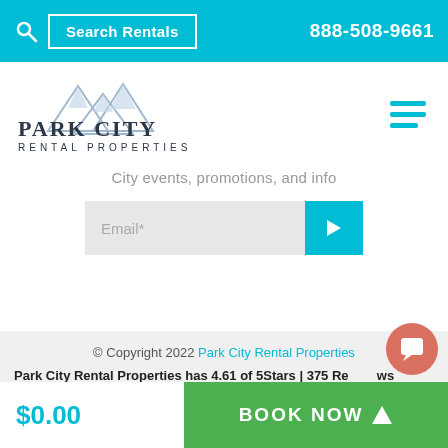Search Rentals | 888-508-9661
[Figure (logo): Park City Rental Properties logo with mountain peaks illustration]
City events, promotions, and info
Email*
© Copyright 2022 Park City Rental Properties
Park City Rental Properties has 4.61 of 5Stars | 375 Reviews
$0.00
BOOK NOW